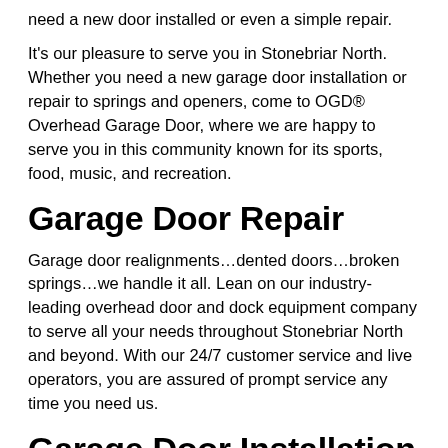need a new door installed or even a simple repair.
It's our pleasure to serve you in Stonebriar North. Whether you need a new garage door installation or repair to springs and openers, come to OGD® Overhead Garage Door, where we are happy to serve you in this community known for its sports, food, music, and recreation.
Garage Door Repair
Garage door realignments…dented doors…broken springs…we handle it all. Lean on our industry-leading overhead door and dock equipment company to serve all your needs throughout Stonebriar North and beyond. With our 24/7 customer service and live operators, you are assured of prompt service any time you need us.
Garage Door Installation
If you need a minimum of …to …and all that too. Out